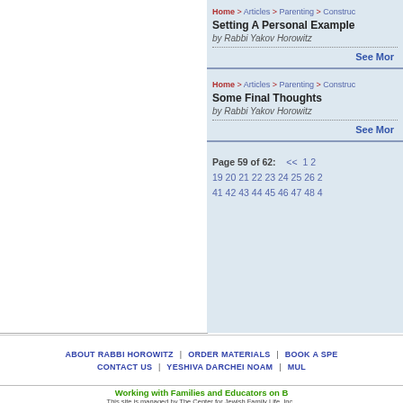Home > Articles > Parenting > Construc...
Setting A Personal Example
by Rabbi Yakov Horowitz
See More
Home > Articles > Parenting > Construc...
Some Final Thoughts
by Rabbi Yakov Horowitz
See More
Page 59 of 62:   << 1 2 ... 19 20 21 22 23 24 25 26 2... 41 42 43 44 45 46 47 48 4...
ABOUT RABBI HOROWITZ | ORDER MATERIALS | BOOK A SPE... CONTACT US | YESHIVA DARCHEI NOAM | MULT...
Working with Families and Educators on B...
This site is managed by The Center for Jewish Family Life, Inc., Project Y.E.S. was founded by Agudath...